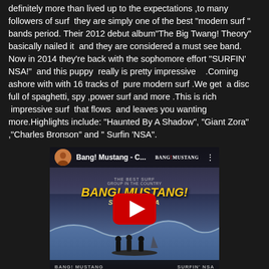definitely more than lived up to the expectations ,to many followers of surf  they are simply one of the best "modern surf " bands period. Their 2012 debut album"The Big Twang! Theory" basically nailed it  and they are considered a must see band. Now in 2014 they're back with the sophomore effort "SURFIN' NSA!"  and this puppy  really is pretty impressive   .Coming ashore with with 16 tracks of  pure modern surf .We get  a disc full of spaghetti, spy ,power surf and more .This is rich  impressive surf  that flows  and leaves you wanting more.Highlights include: "Haunted By A Shadow", "Giant Zora" ,"Charles Bronson" and " Surfin 'NSA".
[Figure (screenshot): YouTube video embed showing Bang! Mustang - C... with album art for SURFIN' NSA featuring silhouettes of people on a surfboard with a shark fin, yellow BANG! MUSTANG! text and SURFIN'NSA text, red YouTube play button in center]